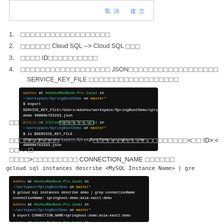[Figure (screenshot): Dialog box with 取消 and 建立 buttons]
1. [Japanese text - step 1]
2. [Japanese] Cloud SQL --> Cloud SQL [Japanese]
3. [Japanese] ID[Japanese]
4. [Japanese] JSON[Japanese] SERVICE_KEY_FILE [Japanese]
[Figure (screenshot): Terminal showing export SERVICE_KEY_FILE command]
取得 Cloud SQL 連線名稱
連線到 Cloud SQL 您需要連線名稱，格式為 <專案 ID>:<區域>:<執行個體名稱>，儲存在 CONNECTION_NAME 環境變數
gcloud sql instances describe <MySQL Instance Name> | gre
[Figure (screenshot): Terminal showing gcloud sql instances describe demo | grep connectionName and export CONNECTION_NAME commands]